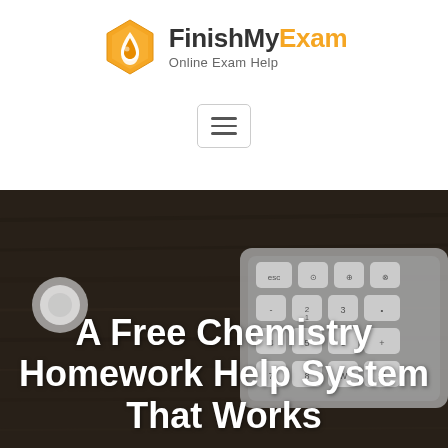[Figure (logo): FinishMyExam logo with orange hexagon honeycomb icon and text 'FinishMyExam Online Exam Help']
[Figure (other): Hamburger menu button icon with three horizontal lines inside a rounded rectangle border]
[Figure (photo): Dark overhead photo of a wooden desk with a computer keyboard and a small round object, used as hero background image]
A Free Chemistry Homework Help System That Works